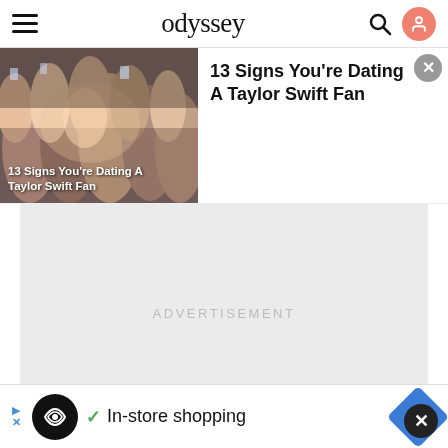odyssey
[Figure (screenshot): Crowd photo with text overlay '13 Signs You're Dating A Taylor Swift Fan']
13 Signs You're Dating A Taylor Swift Fan
[Figure (other): Advertisement placeholder area with text 'ADVERTISEMENT']
[Figure (other): Bottom ad banner with logo, checkmark, 'In-store shopping' text, and blue diamond navigation icon]